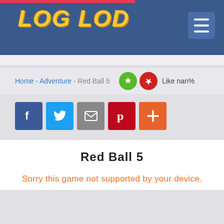LOG LOD
Home - Adventure - Red Ball 5  Like nan%
[Figure (screenshot): Social share buttons: Facebook (blue), Twitter (light blue), Email (gray), Pinterest (red), Plus (orange)]
Red Ball 5
Sorry this game not supported by your device.